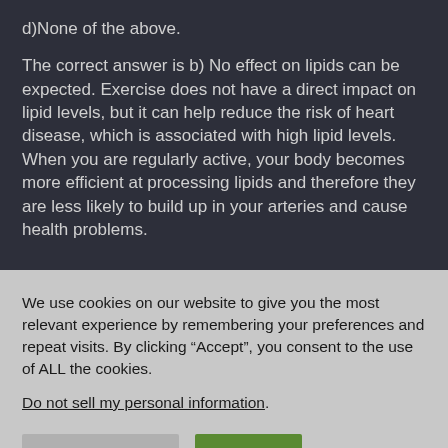d) None of the above.
The correct answer is b) No effect on lipids can be expected.  Exercise does not have a direct impact on lipid levels, but it can help reduce the risk of heart disease, which is associated with high lipid levels. When you are regularly active, your body becomes more efficient at processing lipids and therefore they are less likely to build up in your arteries and cause health problems.
We use cookies on our website to give you the most relevant experience by remembering your preferences and repeat visits. By clicking “Accept”, you consent to the use of ALL the cookies.
Do not sell my personal information.